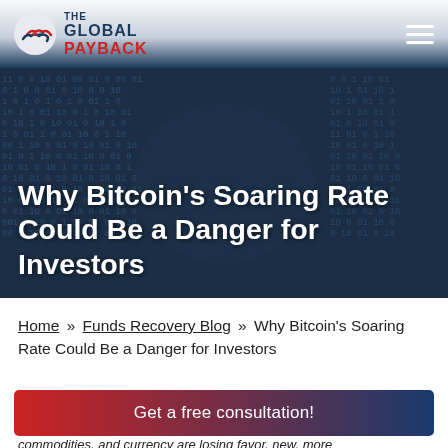THE GLOBAL PAYBACK
[Figure (photo): Hero banner with dark blue background overlaid with binary/digital code pattern (zeros and ones), hands visible in the background, white text title overlay]
Why Bitcoin's Soaring Rate Could Be a Danger for Investors
Home » Funds Recovery Blog » Why Bitcoin's Soaring Rate Could Be a Danger for Investors
Get a free consultation!
commodities, and currency are losing favor, new, more